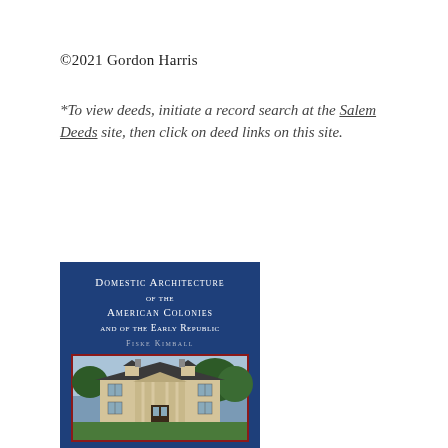©2021 Gordon Harris
*To view deeds, initiate a record search at the Salem Deeds site, then click on deed links on this site.
[Figure (photo): Book cover: 'Domestic Architecture of the American Colonies and of the Early Republic' by Fiske Kimball. Dark blue cover with white small-caps title text, author name in smaller caps, and a photo of a colonial-style mansion at the bottom.]